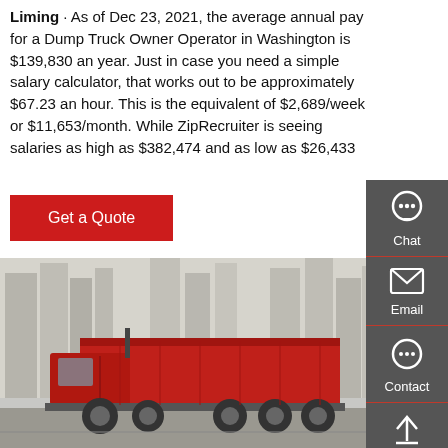Liming · As of Dec 23, 2021, the average annual pay for a Dump Truck Owner Operator in Washington is $139,830 an year. Just in case you need a simple salary calculator, that works out to be approximately $67.23 an hour. This is the equivalent of $2,689/week or $11,653/month. While ZipRecruiter is seeing salaries as high as $382,474 and as low as $26,433
[Figure (other): Red 'Get a Quote' button]
[Figure (photo): A large red dump truck parked on a road with tall residential buildings in the background]
[Figure (infographic): Dark grey sidebar with Chat, Email, Contact, and Top navigation icons]